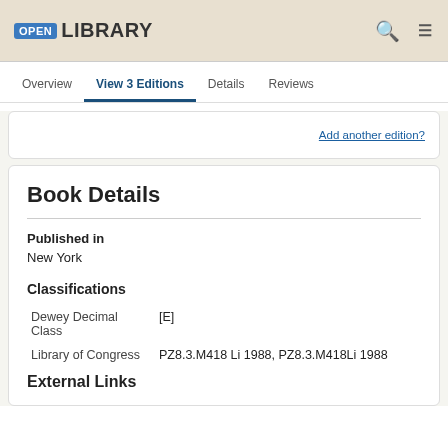OPEN LIBRARY
Overview | View 3 Editions | Details | Reviews
Add another edition?
Book Details
Published in
New York
Classifications
| Field | Value |
| --- | --- |
| Dewey Decimal Class | [E] |
| Library of Congress | PZ8.3.M418 Li 1988, PZ8.3.M418Li 1988 |
External Links